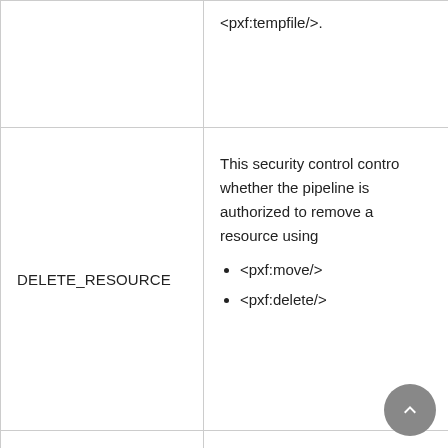| Key | Description |
| --- | --- |
|  | created using <pxf:tempfile/>. |
| DELETE_RESOURCE | This security control controls whether the pipeline is authorized to remove a resource using
• <pxf:move/>
• <pxf:delete/> |
| LOG_PORT | This value for attribute "operation" marks security... |